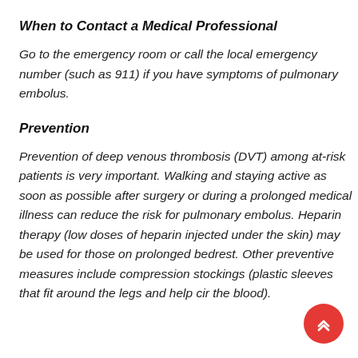When to Contact a Medical Professional
Go to the emergency room or call the local emergency number (such as 911) if you have symptoms of pulmonary embolus.
Prevention
Prevention of deep venous thrombosis (DVT) among at-risk patients is very important. Walking and staying active as soon as possible after surgery or during a prolonged medical illness can reduce the risk for pulmonary embolus. Heparin therapy (low doses of heparin injected under the skin) may be used for those on prolonged bedrest. Other preventive measures include compression stockings (plastic sleeves that fit around the legs and help cir the blood).